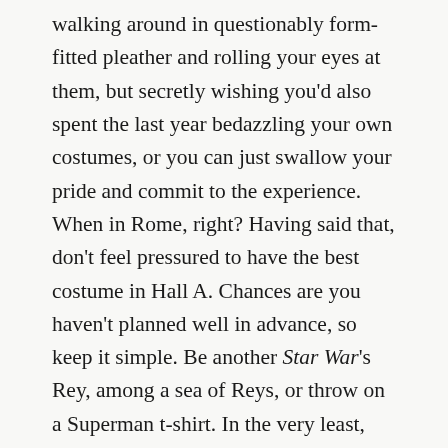walking around in questionably form-fitted pleather and rolling your eyes at them, but secretly wishing you'd also spent the last year bedazzling your own costumes, or you can just swallow your pride and commit to the experience. When in Rome, right? Having said that, don't feel pressured to have the best costume in Hall A. Chances are you haven't planned well in advance, so keep it simple. Be another Star War's Rey, among a sea of Reys, or throw on a Superman t-shirt. In the very least, you'll get some nods for effort from your better-dressed cosplaying clones. But if you put a little more effort into it, you'll likely become a celebrity yourself!